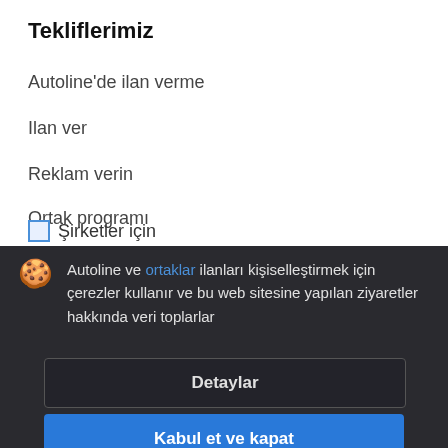Tekliflerimiz
Autoline'de ilan verme
Ilan ver
Reklam verin
Ortak programı
Şirketler için
Autoline ve ortaklar ilanları kişiselleştirmek için çerezler kullanır ve bu web sitesine yapılan ziyaretler hakkında veri toplarlar
Detaylar
Kabul et ve kapat